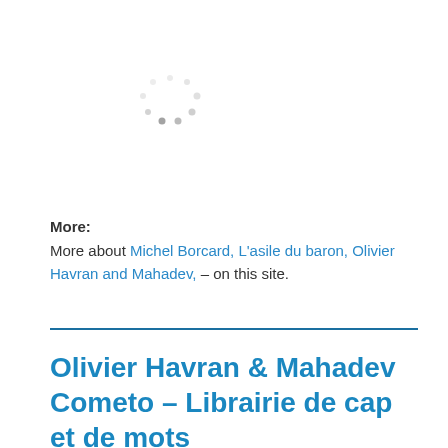[Figure (other): A loading spinner icon made of small grey dots arranged in a circle]
More:
More about Michel Borcard, L'asile du baron, Olivier Havran and Mahadev, – on this site.
Olivier Havran & Mahadev Cometo – Librairie de cap et de mots
MAY 18, 2018